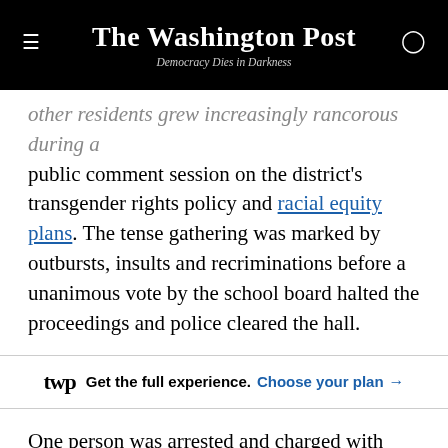The Washington Post — Democracy Dies in Darkness
other residents grew increasingly rancorous during a public comment session on the district's transgender rights policy and racial equity plans. The tense gathering was marked by outbursts, insults and recriminations before a unanimous vote by the school board halted the proceedings and police cleared the hall.
wp Get the full experience. Choose your plan →
One person was arrested and charged with obstruction of justice and disorderly conduct. Another was issued a summons for trespassing.